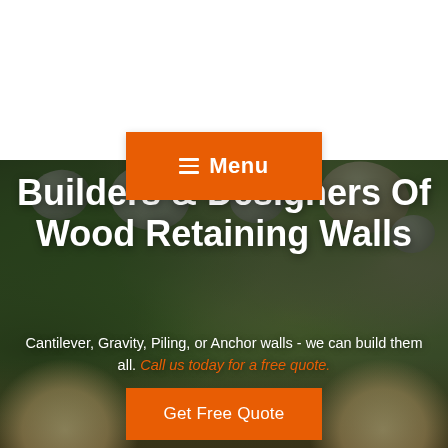[Figure (photo): Background photo of a landscaped garden with large rocks, green bushes, and outdoor patio furniture with floral cushions, overlaid with semi-transparent dark tint.]
Menu
Builders & Designers Of Wood Retaining Walls
Cantilever, Gravity, Piling, or Anchor walls - we can build them all. Call us today for a free quote.
Get Free Quote